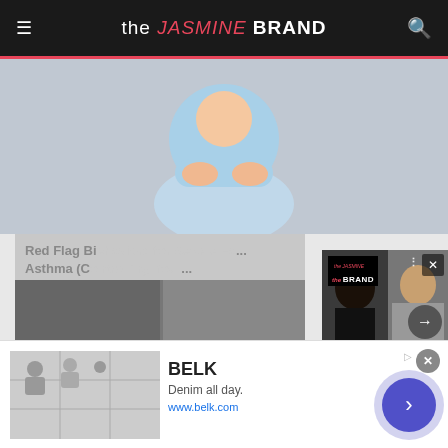the JASMINE BRAND
[Figure (screenshot): Background page showing 'the JASMINE BRAND' website with an illustration and article about Red Flag Behaviors for Severe Asthma]
Red Flag Bi... Asthma (C... Asthma | Search...
[Figure (screenshot): Video popup overlay showing Doja Cat and Rolling Ray photos with caption: Doja Cat Allegedly Copyrighted Rolling Ray's Viral 'It's Giving' Phrase: This B*tch Said Let M...]
Doja Cat Allegedly Copyrighted Rolling Ray's Viral ‘It’s Giving’ Phrase: This B*tch Said Let M...
[Figure (screenshot): Advertisement banner for BELK: Denim all day. www.belk.com]